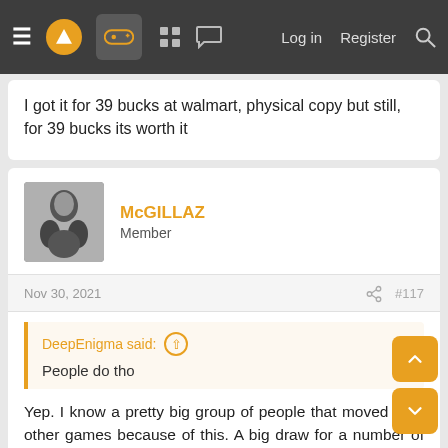Navigation bar with menu, logo, game icon, grid, chat, Log in, Register, Search
I got it for 39 bucks at walmart, physical copy but still, for 39 bucks its worth it
McGILLAZ
Member
Nov 30, 2021  #117
DeepEnigma said: ↑
People do tho
Yep. I know a pretty big group of people that moved onto other games because of this. A big draw for a number of folks in my "friends" group was Modern Warfare's attention to sound design and weapon models (I know later on the models got nerfed with stupid-assed stickers, skins, etc...but out of the gate, it was pretty damned impressive)